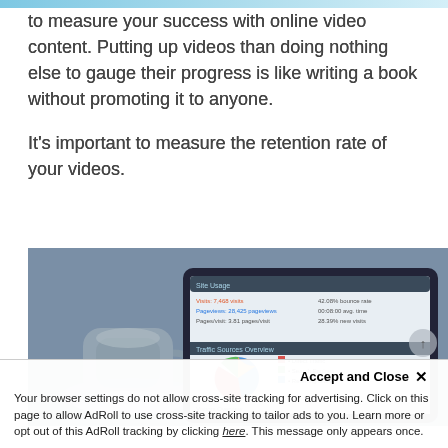to measure your success with online video content. Putting up videos than doing nothing else to gauge their progress is like writing a book without promoting it to anyone.
It's important to measure the retention rate of your videos.
[Figure (photo): A tablet displaying analytics/dashboard with pie chart and graphs, with a coffee cup in the blurred background]
Accept and Close ✕
Your browser settings do not allow cross-site tracking for advertising. Click on this page to allow AdRoll to use cross-site tracking to tailor ads to you. Learn more or opt out of this AdRoll tracking by clicking here. This message only appears once.